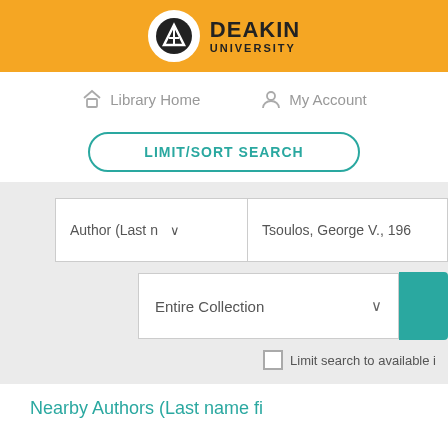[Figure (logo): Deakin University logo with shield icon on orange header bar]
Library Home   My Account
LIMIT/SORT SEARCH
Author (Last n…   Tsoulos, George V., 196…
Entire Collection
Limit search to available i…
Nearby Authors (Last name fi…